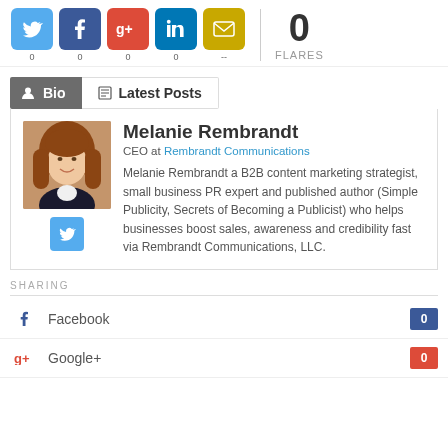[Figure (infographic): Social sharing bar with Twitter, Facebook, Google+, LinkedIn, Email icons each showing count 0, and total 0 FLARES]
Bio | Latest Posts
[Figure (photo): Headshot of Melanie Rembrandt, a woman with long auburn hair, smiling, wearing a dark blazer]
Melanie Rembrandt
CEO at Rembrandt Communications
Melanie Rembrandt a B2B content marketing strategist, small business PR expert and published author (Simple Publicity, Secrets of Becoming a Publicist) who helps businesses boost sales, awareness and credibility fast via Rembrandt Communications, LLC.
SHARING
Facebook 0
Google+ 0